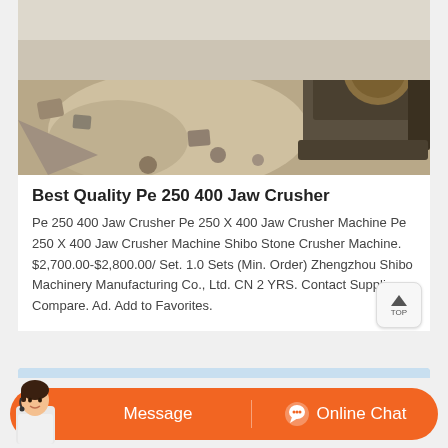[Figure (photo): Jaw crusher machine operating outdoors on rocky terrain with machinery components visible]
Best Quality Pe 250 400 Jaw Crusher
Pe 250 400 Jaw Crusher Pe 250 X 400 Jaw Crusher Machine Pe 250 X 400 Jaw Crusher Machine Shibo Stone Crusher Machine. $2,700.00-$2,800.00/ Set. 1.0 Sets (Min. Order) Zhengzhou Shibo Machinery Manufacturing Co., Ltd. CN 2 YRS. Contact Supplier. Compare. Ad. Add to Favorites.
[Figure (photo): Industrial crushing plant facility with metal framework structure and equipment visible outdoors]
[Figure (other): Message and Online Chat bottom action bar with orange background and chat avatar]